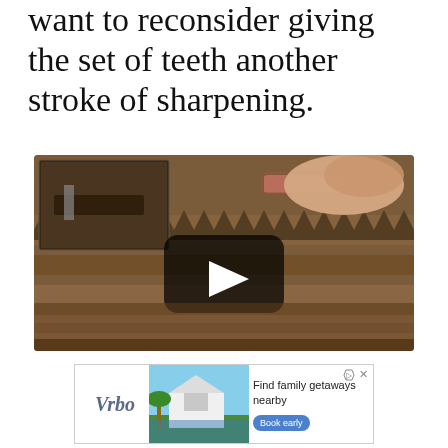want to reconsider giving the set of teeth another stroke of sharpening.
[Figure (screenshot): Video thumbnail showing close-up of a saw blade being sharpened with a file, with a smaller inset image in the upper left showing a similar hand tool sharpening action. A play button overlay is centered on the image.]
[Figure (infographic): Vrbo advertisement showing a beach house with palm trees. Text reads 'Find family getaways nearby' with a 'Book early' button. Vrbo logo on the left.]